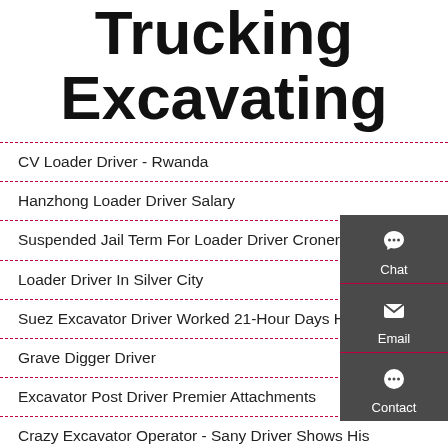Trucking Excavating
CV Loader Driver - Rwanda
Hanzhong Loader Driver Salary
Suspended Jail Term For Loader Driver Croner-I
Loader Driver In Silver City
Suez Excavator Driver Worked 21-Hour Days Hasn T
Grave Digger Driver
Excavator Post Driver Premier Attachments
Crazy Excavator Operator - Sany Driver Shows His